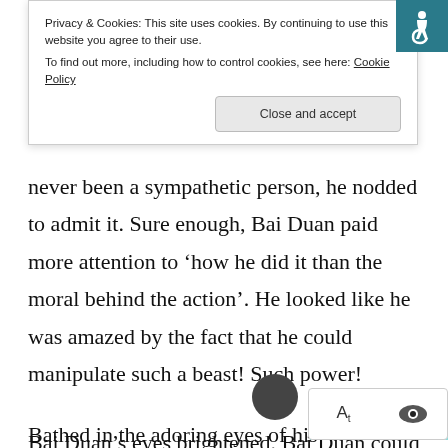Privacy & Cookies: This site uses cookies. By continuing to use this website you agree to their use.
To find out more, including how to control cookies, see here: Cookie Policy
Close and accept
never been a sympathetic person, he nodded to admit it. Sure enough, Bai Duan paid more attention to ‘how he did it than the moral behind the action’. He looked like he was amazed by the fact that he could manipulate such a beast! Such power!
Bathed in the adoring eyes of his sweetheart, Cao YuYing was quite elated, “I can do this because of a power called ‘mental power’. I will teach y
Bai Duan’s eyes brightened. Bai Duan could b